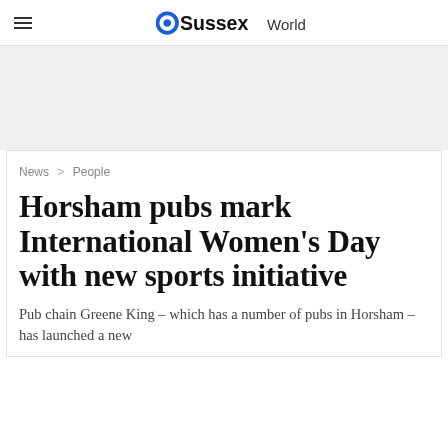OSussexWorld
News > People
Horsham pubs mark International Women's Day with new sports initiative
Pub chain Greene King – which has a number of pubs in Horsham – has launched a new